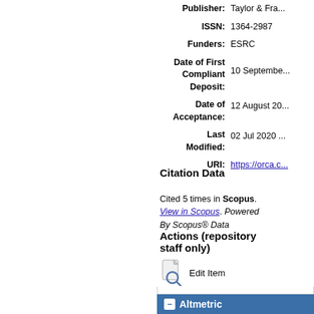| Publisher: | Taylor & Fra... |
| ISSN: | 1364-2987 |
| Funders: | ESRC |
| Date of First Compliant Deposit: | 10 Septembe... |
| Date of Acceptance: | 12 August 20... |
| Last Modified: | 02 Jul 2020 ... |
| URI: | https://orca.c... |
Citation Data
Cited 5 times in Scopus. View in Scopus. Powered By Scopus® Data
Actions (repository staff only)
Edit Item
Altmetric